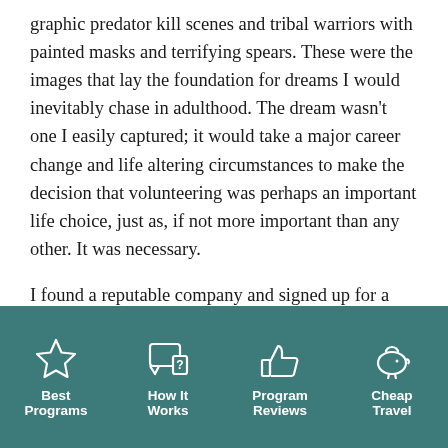graphic predator kill scenes and tribal warriors with painted masks and terrifying spears. These were the images that lay the foundation for dreams I would inevitably chase in adulthood. The dream wasn't one I easily captured; it would take a major career change and life altering circumstances to make the decision that volunteering was perhaps an important life choice, just as, if not more important than any other. It was necessary.

I found a reputable company and signed up for a Big Five volunteer experience in South Africa, dang, just writing that still gives me chills. I left behind all the creature comforts of home (that I would soon learn...
Best Programs | How It Works | Program Reviews | Cheap Travel